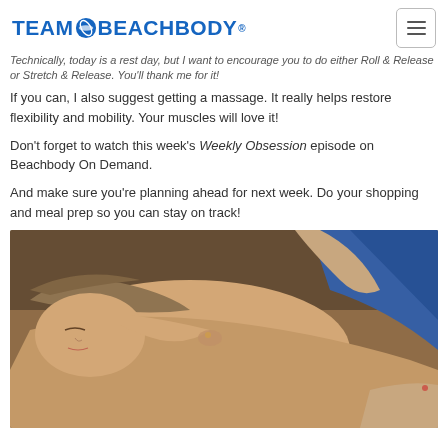TEAM BEACHBODY®
Technically, today is a rest day, but I want to encourage you to do either Roll & Release or Stretch & Release. You'll thank me for it!
If you can, I also suggest getting a massage. It really helps restore flexibility and mobility. Your muscles will love it!
Don't forget to watch this week's Weekly Obsession episode on Beachbody On Demand.
And make sure you're planning ahead for next week. Do your shopping and meal prep so you can stay on track!
[Figure (photo): Woman lying face down receiving a back massage from a therapist wearing blue, eyes closed, relaxed expression.]